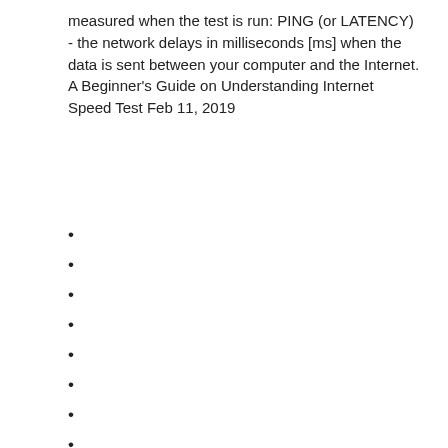measured when the test is run: PING (or LATENCY) - the network delays in milliseconds [ms] when the data is sent between your computer and the Internet. A Beginner's Guide on Understanding Internet Speed Test Feb 11, 2019